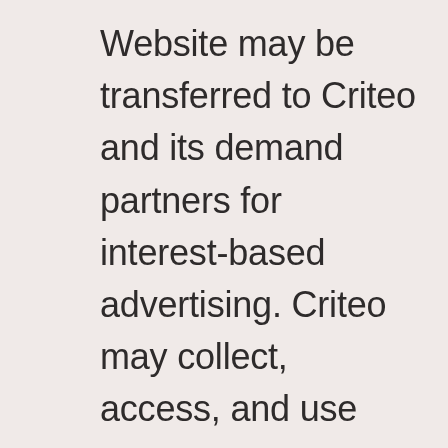Website may be transferred to Criteo and its demand partners for interest-based advertising. Criteo may collect, access, and use non-